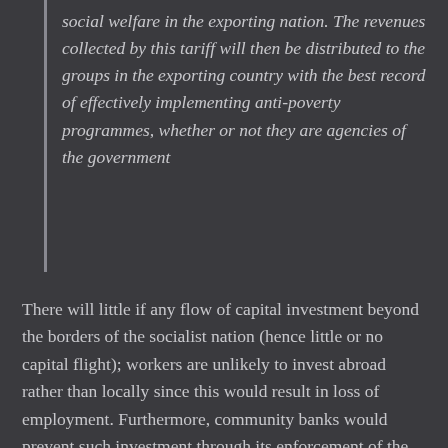social welfare in the exporting nation. The revenues collected by this tariff will then be distributed to the groups in the exporting country with the best record of effectively implementing anti-poverty programmes, whether or not they are agencies of the government
There will little if any flow of capital investment beyond the borders of the socialist nation (hence little or no capital flight); workers are unlikely to invest abroad rather than locally since this would result in loss of employment. Furthermore, community banks would prevent such investment through its enforcement of the criteria of employment creation (see previous post).